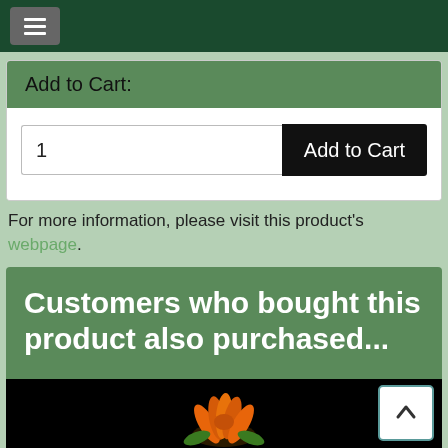[Figure (screenshot): Dark green navigation bar with hamburger menu button]
Add to Cart:
1
Add to Cart
For more information, please visit this product's webpage.
Customers who bought this product also purchased...
[Figure (photo): Orange flowers on black background with scroll-up button]